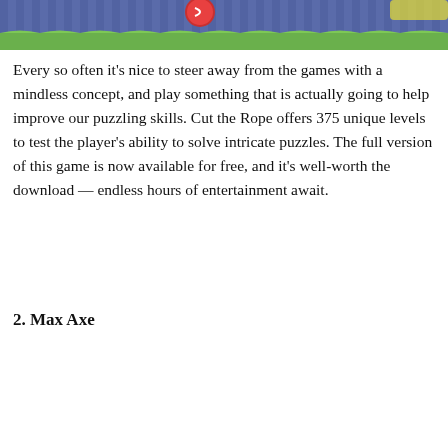[Figure (illustration): Top portion of a Cut the Rope game screenshot showing a colorful game scene with a blue striped background and green ground, with a character visible at the top]
Every so often it's nice to steer away from the games with a mindless concept, and play something that is actually going to help improve our puzzling skills. Cut the Rope offers 375 unique levels to test the player's ability to solve intricate puzzles. The full version of this game is now available for free, and it's well-worth the download — endless hours of entertainment await.
2. Max Axe